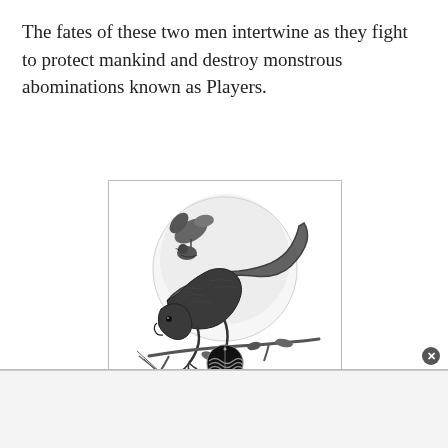The fates of these two men intertwine as they fight to protect mankind and destroy monstrous abominations known as Players.
[Figure (illustration): Black and white detailed pencil illustration of a lizard/salamander on a branch with leaves and a circular moon/sun background. At the bottom: 'Jurga Creations' logo with a circular emblem showing wave-like design and a 'See More Art' yellow button.]